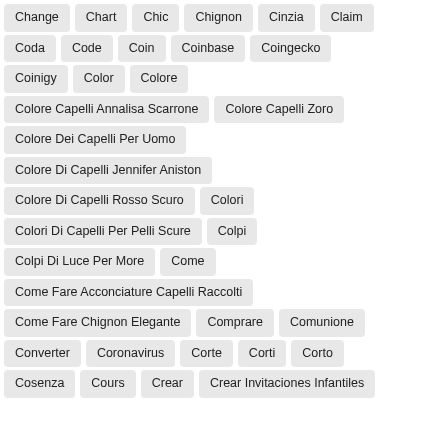Change
Chart
Chic
Chignon
Cinzia
Claim
Coda
Code
Coin
Coinbase
Coingecko
Coinigy
Color
Colore
Colore Capelli Annalisa Scarrone
Colore Capelli Zoro
Colore Dei Capelli Per Uomo
Colore Di Capelli Jennifer Aniston
Colore Di Capelli Rosso Scuro
Colori
Colori Di Capelli Per Pelli Scure
Colpi
Colpi Di Luce Per More
Come
Come Fare Acconciature Capelli Raccolti
Come Fare Chignon Elegante
Comprare
Comunione
Converter
Coronavirus
Corte
Corti
Corto
Cosenza
Cours
Crear
Crear Invitaciones Infantiles